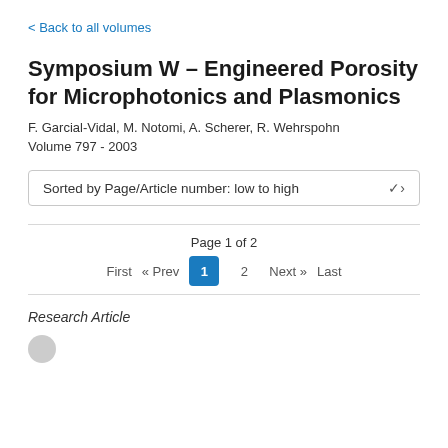< Back to all volumes
Symposium W – Engineered Porosity for Microphotonics and Plasmonics
F. Garcial-Vidal, M. Notomi, A. Scherer, R. Wehrspohn
Volume 797 - 2003
Sorted by Page/Article number: low to high
Page 1 of 2
First « Prev 1 2 Next » Last
Research Article